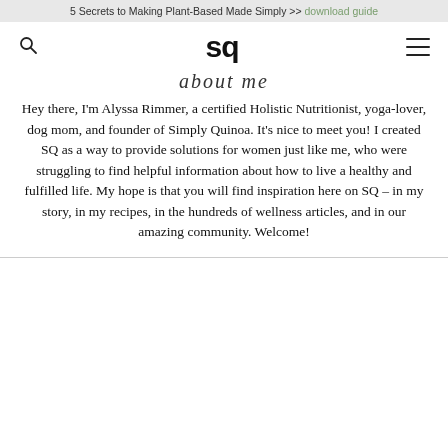5 Secrets to Making Plant-Based Made Simply >> download guide
[Figure (logo): Simply Quinoa logo: 'sq' in bold sans-serif]
about me
Hey there, I'm Alyssa Rimmer, a certified Holistic Nutritionist, yoga-lover, dog mom, and founder of Simply Quinoa. It's nice to meet you! I created SQ as a way to provide solutions for women just like me, who were struggling to find helpful information about how to live a healthy and fulfilled life. My hope is that you will find inspiration here on SQ – in my story, in my recipes, in the hundreds of wellness articles, and in our amazing community. Welcome!